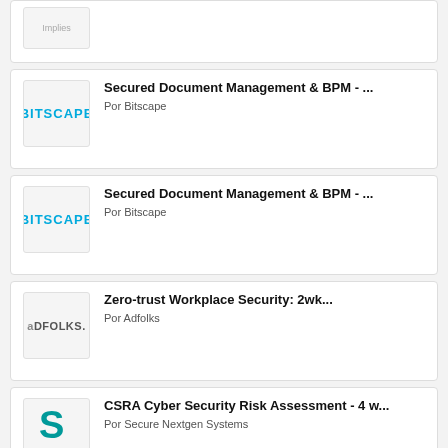[Figure (logo): Partial top card with a logo (partly visible, clipped at top)]
[Figure (logo): BITSCAPE logo in blue text]
Secured Document Management & BPM - ...
Por Bitscape
[Figure (logo): BITSCAPE logo in blue text]
Secured Document Management & BPM - ...
Por Bitscape
[Figure (logo): adFolks logo in grey text]
Zero-trust Workplace Security: 2wk...
Por Adfolks
[Figure (logo): S logo for Secure Nextgen Systems in teal]
CSRA Cyber Security Risk Assessment - 4 w...
Por Secure Nextgen Systems